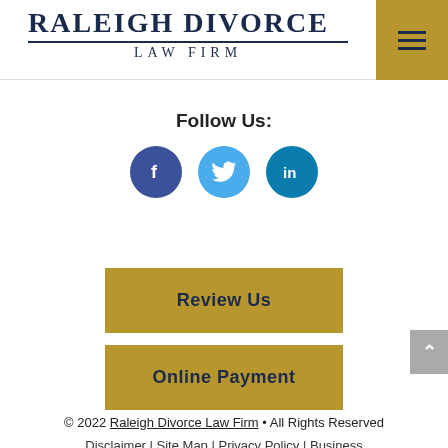RALEIGH DIVORCE LAW FIRM
[Figure (illustration): Three social media icons: Facebook (dark blue circle with f), Twitter (light blue circle with bird), LinkedIn (teal circle with in)]
Follow Us:
Review Us
Online Payment
© 2022 Raleigh Divorce Law Firm • All Rights Reserved
Disclaimer | Site Map | Privacy Policy | Business